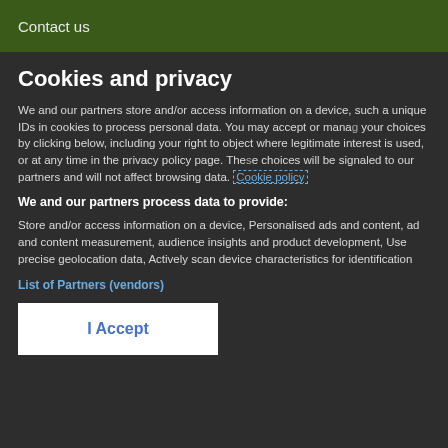Contact us
Cookies and privacy
We and our partners store and/or access information on a device, such a unique IDs in cookies to process personal data. You may accept or manage your choices by clicking below, including your right to object where legitimate interest is used, or at any time in the privacy policy page. These choices will be signaled to our partners and will not affect browsing data. Cookie policy
We and our partners process data to provide:
Store and/or access information on a device, Personalised ads and content, ad and content measurement, audience insights and product development, Use precise geolocation data, Actively scan device characteristics for identification
List of Partners (vendors)
I Accept